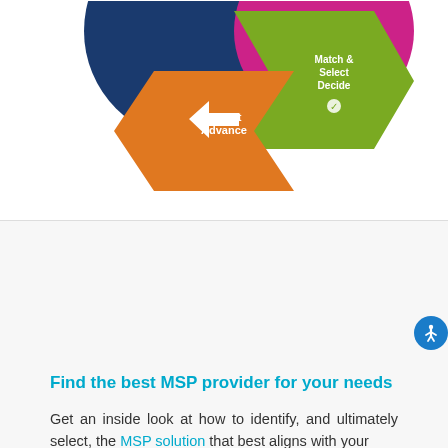[Figure (infographic): Partial circular lifecycle/process diagram with colorful arrow segments. Visible segments include an orange left-pointing arrow labeled 'Depart Advance' and a green/olive segment labeled 'Match & Select Decide' with icons. A dark blue arc and magenta/pink arc are also partially visible at top.]
We recognise everyone's reason for contingent workforce process review and MSP journey is different. You may not need support at every step. However, by taking this holistic view, we identify where the real moments that matter to drive your hiring manager and worker satisfaction scores. And to ultimately deliver the results that drive performance.
Find the best MSP provider for your needs
Get an inside look at how to identify, and ultimately select, the MSP solution that best aligns with your